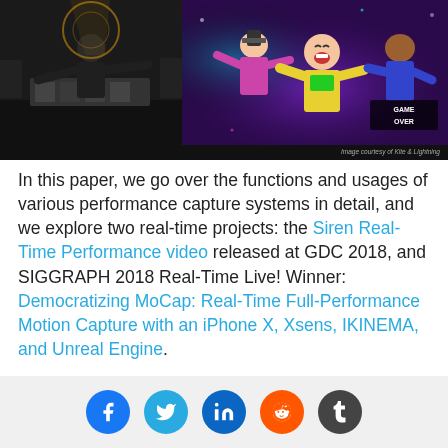[Figure (photo): Left: A presenter on a dark stage with equipment. Right: Colorful concert/performance scene with people in costumes including babies/small figures with neon lighting. Image credit: Image courtesy of Kite & Lightning]
In this paper, we go over the functions and usages of various performance capture systems in detail, and we explore two real-time projects: the Siren Real-Time Performance video released at GDC 2018, and SIGGRAPH 2018 Real-Time Live! Winner: Democratizing MoCap: Real-Time Full-Performance Motion Capture with an iPhone X, Xsens, IKINEMA, and Unreal Engine.
[Figure (infographic): Social sharing icons: Facebook, Twitter, LinkedIn, Reddit, Tumblr]